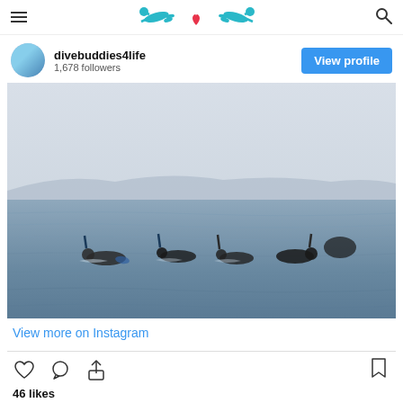divebuddies4life website header with logo and navigation
divebuddies4life
1,678 followers
View profile
[Figure (photo): Group of snorkelers swimming in open ocean water, with distant mountains on the horizon and overcast sky. Snorkel tubes and heads visible above the water surface.]
View more on Instagram
46 likes